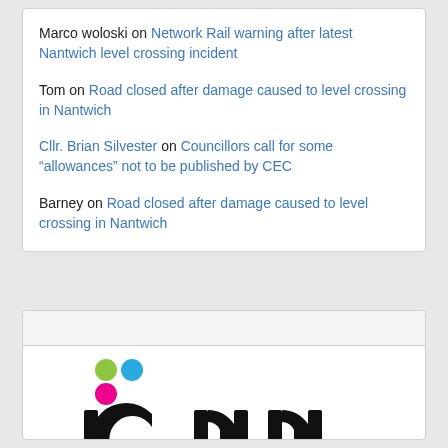Marco woloski on Network Rail warning after latest Nantwich level crossing incident
Tom on Road closed after damage caused to level crossing in Nantwich
Cllr. Brian Silvester on Councillors call for some “allowances” not to be published by CEC
Barney on Road closed after damage caused to level crossing in Nantwich
[Figure (logo): ICNN - independent community news network logo with colored dots (green, blue, pink) above stylized 'icnn' text and tagline 'independent community news network']